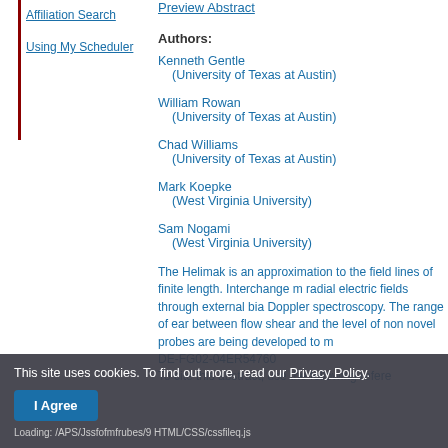Affiliation Search
Using My Scheduler
Preview Abstract
Authors:
Kenneth Gentle (University of Texas at Austin)
William Rowan (University of Texas at Austin)
Chad Williams (University of Texas at Austin)
Mark Koepke (West Virginia University)
Sam Nogami (West Virginia University)
The Helimak is an approximation to the field lines of finite length. Interchange m radial electric fields through external bia Doppler spectroscopy. The range of ear between flow shear and the level of non novel probes are being developed to m DE-FG02-04ER54760 To cite this abstract, use the following refere
This site uses cookies. To find out more, read our Privacy Policy.